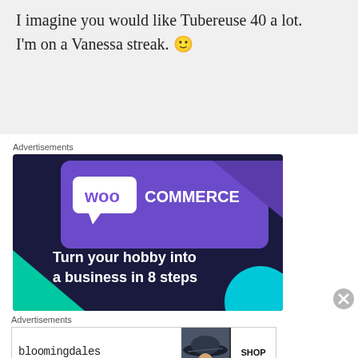I imagine you would like Tubereuse 40 a lot. I'm on a Vanessa streak. 🙂
Advertisements
[Figure (illustration): WooCommerce advertisement: purple and dark blue background with teal accent shape, WooCommerce logo (speech bubble with 'Woo' text), text: 'Turn your hobby into a business in 8 steps']
Advertisements
[Figure (illustration): Bloomingdale's advertisement with logo, 'View Today's Top Deals!', photo of woman in hat, 'SHOP NOW >' button]